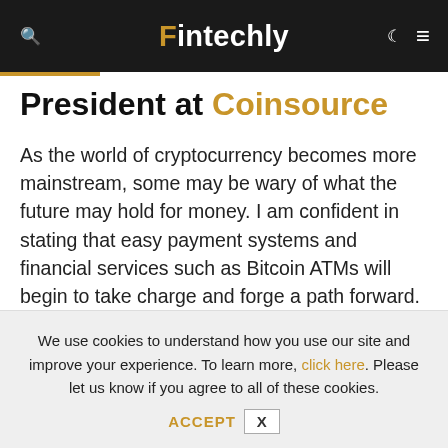Fintechly
President at Coinsource
As the world of cryptocurrency becomes more mainstream, some may be wary of what the future may hold for money. I am confident in stating that easy payment systems and financial services such as Bitcoin ATMs will begin to take charge and forge a path forward.
We use cookies to understand how you use our site and improve your experience. To learn more, click here. Please let us know if you agree to all of these cookies. ACCEPT X